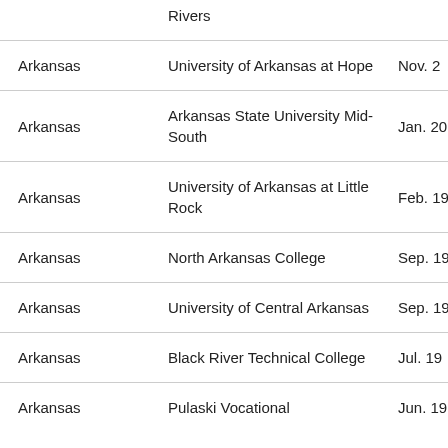| State | Institution | Date |
| --- | --- | --- |
|  | Rivers |  |
| Arkansas | University of Arkansas at Hope | Nov. 2 |
| Arkansas | Arkansas State University Mid-South | Jan. 20 |
| Arkansas | University of Arkansas at Little Rock | Feb. 19 |
| Arkansas | North Arkansas College | Sep. 19 |
| Arkansas | University of Central Arkansas | Sep. 19 |
| Arkansas | Black River Technical College | Jul. 19 |
| Arkansas | Pulaski Vocational | Jun. 19 |